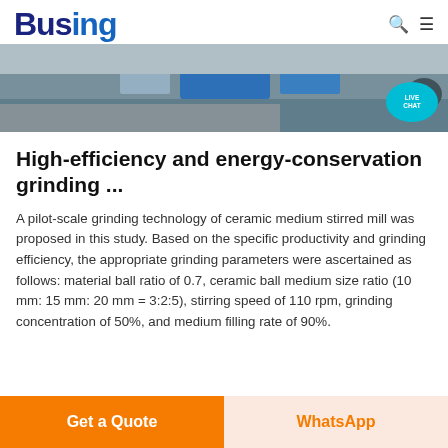Busing
[Figure (photo): Industrial grinding mill equipment photo with blue machinery visible, and a live chat bubble overlay in the top right corner]
High-efficiency and energy-conservation grinding ...
A pilot-scale grinding technology of ceramic medium stirred mill was proposed in this study. Based on the specific productivity and grinding efficiency, the appropriate grinding parameters were ascertained as follows: material ball ratio of 0.7, ceramic ball medium size ratio (10 mm: 15 mm: 20 mm = 3:2:5), stirring speed of 110 rpm, grinding concentration of 50%, and medium filling rate of 90%.
Get a Quote | WhatsApp